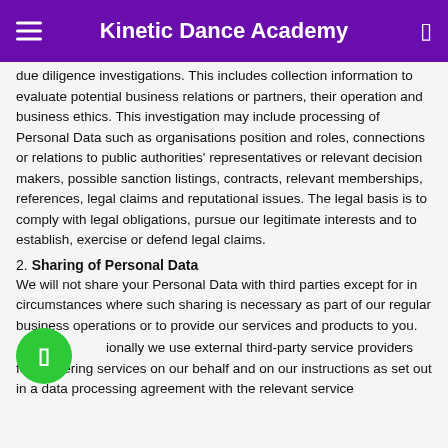Kinetic Dance Academy
due diligence investigations. This includes collection information to evaluate potential business relations or partners, their operation and business ethics. This investigation may include processing of Personal Data such as organisations position and roles, connections or relations to public authorities' representatives or relevant decision makers, possible sanction listings, contracts, relevant memberships, references, legal claims and reputational issues. The legal basis is to comply with legal obligations, pursue our legitimate interests and to establish, exercise or defend legal claims.
2. Sharing of Personal Data
We will not share your Personal Data with third parties except for in circumstances where such sharing is necessary as part of our regular business operations or to provide our services and products to you.
Additionally we use external third-party service providers for delivering services on our behalf and on our instructions as set out in a data processing agreement with the relevant service